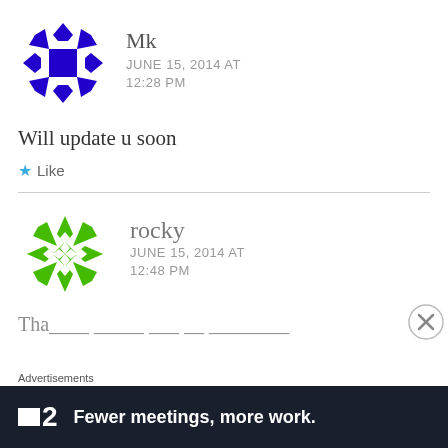[Figure (illustration): Blue geometric avatar for user Mk]
Mk
JUNE 15, 2014 AT 12:28 PM
Will update u soon
★ Like
[Figure (illustration): Green geometric avatar for user rocky]
rocky
JUNE 15, 2014 AT 12:48 PM
Advertisements
[Figure (other): Advertisement banner: '2 Fewer meetings, more work.']